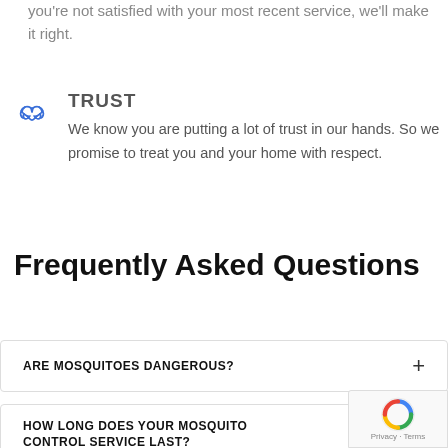you're not satisfied with your most recent service, we'll make it right.
[Figure (illustration): Blue outline handshake icon]
TRUST
We know you are putting a lot of trust in our hands. So we promise to treat you and your home with respect.
Frequently Asked Questions
ARE MOSQUITOES DANGEROUS?
HOW LONG DOES YOUR MOSQUITO CONTROL SERVICE LAST?